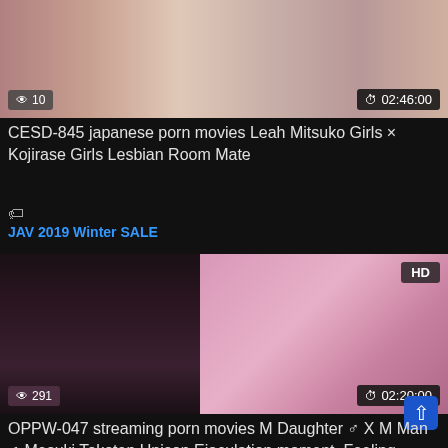[Figure (screenshot): Video thumbnail for CESD-845 with view count 10 and duration 02:46:00]
CESD-845 japanese porn movies Leah Mitsuko Girls × Kojirase Girls Lesbian Room Mate
JAV 2019 Winter SALE
[Figure (screenshot): Video thumbnail for OPPW-047 with HD badge, view count 291 and duration 02:20:00]
OPPW-047 streaming porn movies M Daughter ♂ X M Man ♂ Mesuki Tokoten Unison Ejaculation moment, Feeling